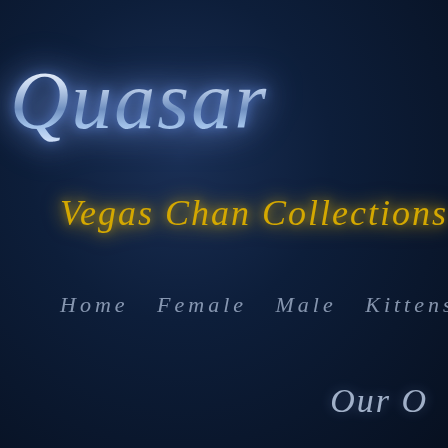[Figure (logo): Quasar logo page header with dark navy background, stylized italic silver-blue script text 'Quasar' with glow effect, golden italic subtitle 'Vegas Chan Collections', navigation links 'Home Female Male Kittens Ch...' in muted silver, and partial text 'Our O' in lower right corner]
Quasar
Vegas Chan Collections
Home  Female  Male  Kittens  Ch...
Our O